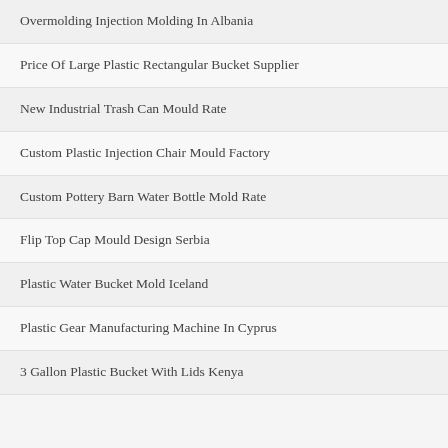Overmolding Injection Molding In Albania
Price Of Large Plastic Rectangular Bucket Supplier
New Industrial Trash Can Mould Rate
Custom Plastic Injection Chair Mould Factory
Custom Pottery Barn Water Bottle Mold Rate
Flip Top Cap Mould Design Serbia
Plastic Water Bucket Mold Iceland
Plastic Gear Manufacturing Machine In Cyprus
3 Gallon Plastic Bucket With Lids Kenya